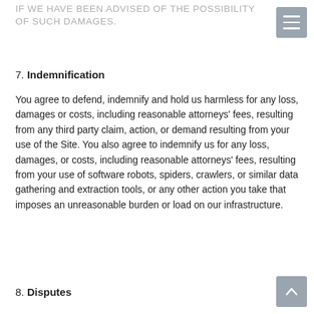IF WE HAVE BEEN ADVISED OF THE POSSIBILITY OF SUCH DAMAGES.
7. Indemnification
You agree to defend, indemnify and hold us harmless for any loss, damages or costs, including reasonable attorneys' fees, resulting from any third party claim, action, or demand resulting from your use of the Site. You also agree to indemnify us for any loss, damages, or costs, including reasonable attorneys' fees, resulting from your use of software robots, spiders, crawlers, or similar data gathering and extraction tools, or any other action you take that imposes an unreasonable burden or load on our infrastructure.
8. Disputes